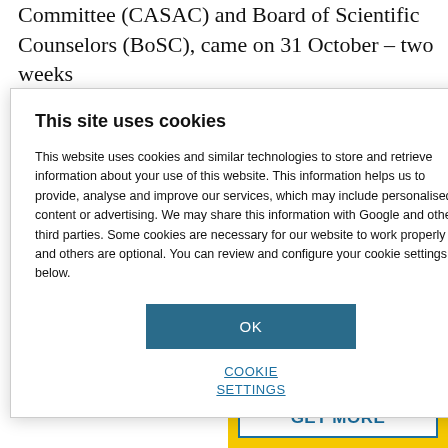Committee (CASAC) and Board of Scientific Counselors (BoSC), came on 31 October – two weeks
previewed the
shouldn't be 1 October , members of the owards of $77 rant funding in hese committees.
[Figure (screenshot): Cookie consent dialog overlay. Title: 'This site uses cookies' with a close X button. Body text: 'This website uses cookies and similar technologies to store and retrieve information about your use of this website. This information helps us to provide, analyse and improve our services, which may include personalised content or advertising. We may share this information with Google and other third parties. Some cookies are necessary for our website to work properly and others are optional. You can review and configure your cookie settings below.' An 'OK' button in dark teal/blue. A 'COOKIE SETTINGS' link below.]
[Figure (screenshot): Small advertisement banner in dark blue with text about CRO, CDMO, CMO services for drug discovery, with a close X button in upper right.]
[Figure (screenshot): Yellow 'GET MORE' call-to-action box in the bottom right corner with a white button bordered in blue.]